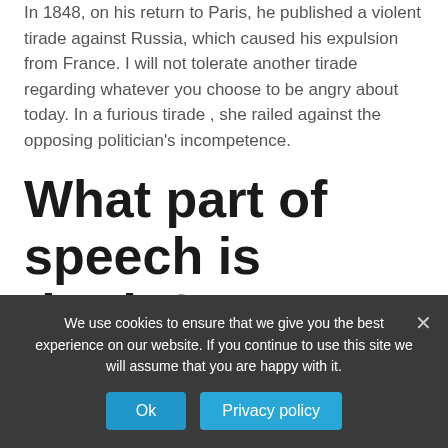In 1848, on his return to Paris, he published a violent tirade against Russia, which caused his expulsion from France. I will not tolerate another tirade regarding whatever you choose to be angry about today. In a furious tirade , she railed against the opposing politician's incompetence.
What part of speech is tirade?
tirade
We use cookies to ensure that we give you the best experience on our website. If you continue to use this site we will assume that you are happy with it.